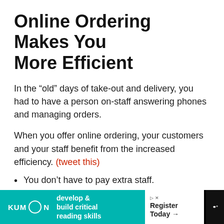Online Ordering Makes You More Efficient
In the “old” days of take-out and delivery, you had to have a person on-staff answering phones and managing orders.
When you offer online ordering, your customers and your staff benefit from the increased efficiency. (tweet this)
You don’t have to pay extra staff.
Your customers can order right from their smartphones.
Diners don’t have to wait on the telephone on hold
[Figure (infographic): Advertisement banner for Kumon reading skills program with teal background, Kumon logo, text 'develop & build critical reading skills', and a white 'Register Today' call to action button.]